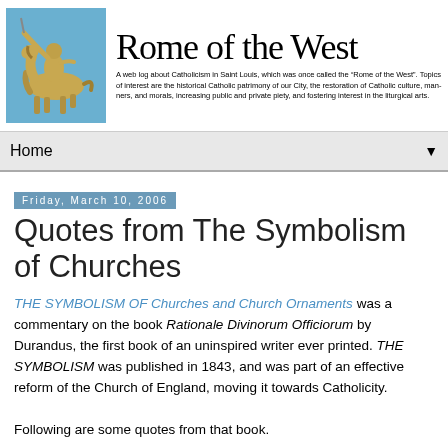[Figure (illustration): Equestrian statue on blue sky background - header image for Rome of the West blog]
Rome of the West
A web log about Catholicism in Saint Louis, which was once called the "Rome of the West". Topics of interest are the historical Catholic patrimony of our City, the restoration of Catholic culture, manners, and morals, increasing public and private piety, and fostering interest in the liturgical arts.
Home
Friday, March 10, 2006
Quotes from The Symbolism of Churches
THE SYMBOLISM OF Churches and Church Ornaments was a commentary on the book Rationale Divinorum Officiorum by Durandus, the first book of an uninspired writer ever printed. THE SYMBOLISM was published in 1843, and was part of an effective reform of the Church of England, moving it towards Catholicity.

Following are some quotes from that book.